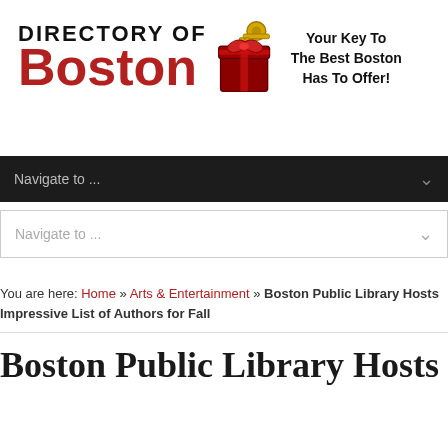[Figure (logo): Directory of Boston logo with a key and gift box icon, text reads DIRECTORY OF Boston in black and red]
Your Key To The Best Boston Has To Offer!
Navigate to ...
Navigate to ...
You are here: Home » Arts & Entertainment » Boston Public Library Hosts Impressive List of Authors for Fall
Boston Public Library Hosts